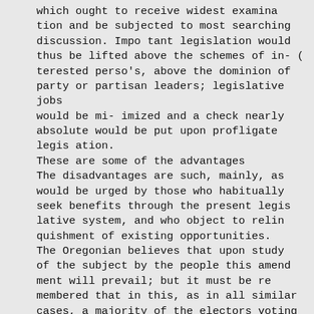which ought to receive widest examina tion and be subjected to most searching discussion. Impo tant legislation would thus be lifted above the schemes of in- ( terested perso's, above the dominion of party or partisan leaders; legislative jobs would be mi- imized and a check nearly absolute would be put upon profligate legis ation.
These are some of the advantages The disadvantages are such, mainly, as would be urged by those who habitually seek benefits through the present legis lative system, and who object to relin quishment of existing opportunities. The Oregonian believes that upon study of the subject by the people this amend ment will prevail; but it must be re membered that in this, as in all similar cases, a majority of the electors voting at the particular election in which an amendment is submitted, must be re corded for it, in order to carry it.
WOMEN
AND